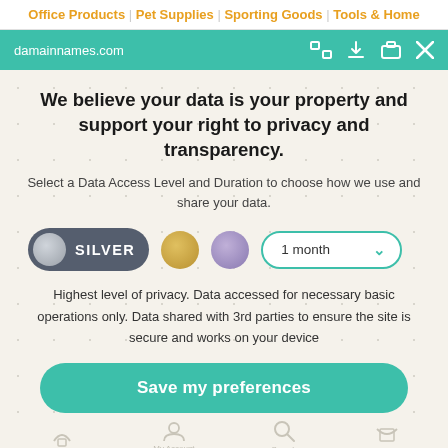Office Products | Pet Supplies | Sporting Goods | Tools & Home
[Figure (screenshot): Browser address bar showing damainnames.com with teal background and icons]
We believe your data is your property and support your right to privacy and transparency.
Select a Data Access Level and Duration to choose how we use and share your data.
[Figure (infographic): Silver toggle selected, gold circle, purple circle, and 1 month dropdown]
Highest level of privacy. Data accessed for necessary basic operations only. Data shared with 3rd parties to ensure the site is secure and works on your device
[Figure (infographic): Save my preferences green button]
Customize   Privacy policy